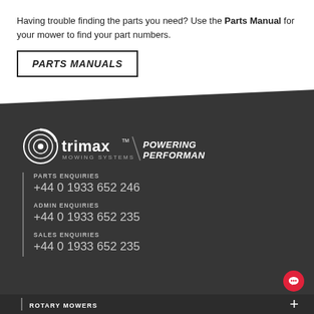Having trouble finding the parts you need? Use the Parts Manual for your mower to find your part numbers.
PARTS MANUALS
[Figure (logo): Trimax Mowing Systems / Powering Performance logo in white on dark background]
PARTS ENQUIRIES
+44 0 1933 652 246
ADMIN ENQUIRIES
+44 0 1933 652 235
SALES ENQUIRIES
+44 0 1933 652 235
ROTARY MOWERS